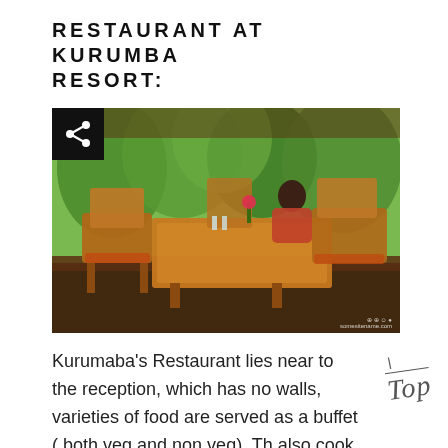RESTAURANT AT KURUMBA RESORT:
[Figure (photo): A woman sitting at a wooden dining table in an open-air restaurant surrounded by lush green trees. Wooden chairs and tables visible in the foreground. A share icon button is overlaid in the top-left corner of the image.]
Kurumaba's Restaurant lies near to the reception, which has no walls, varieties of food are served as a buffet ( both veg and non veg). Th also cook live dosas, chappatis/rotis, pizzas, even if the food provided is buffet they also cook as per the